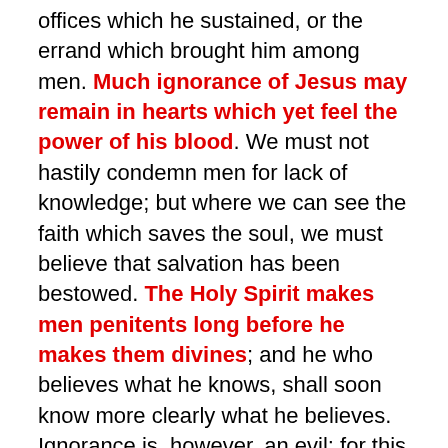offices which he sustained, or the errand which brought him among men. Much ignorance of Jesus may remain in hearts which yet feel the power of his blood. We must not hastily condemn men for lack of knowledge; but where we can see the faith which saves the soul, we must believe that salvation has been bestowed. The Holy Spirit makes men penitents long before he makes them divines; and he who believes what he knows, shall soon know more clearly what he believes. Ignorance is, however, an evil; for this poor man was much tantalized by the Pharisees, and was quite unable to cope with them. It is good to be able to answer gainsayers; but we cannot do so if we know not the Lord Jesus clearly and with understanding. The cure of his ignorance, however, soon followed the cure of his infirmity, for he was visited by the Lord in the temple; and after that gracious manifestation,